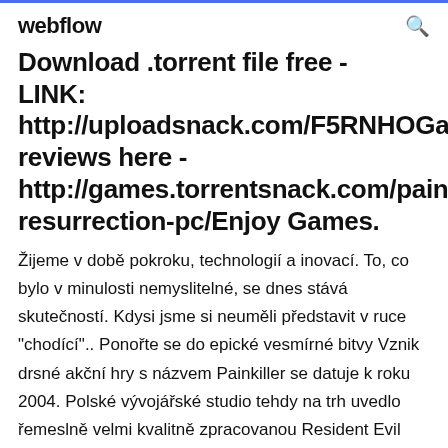webflow
Download .torrent file free - LINK: http://uploadsnack.com/F5RNHOGam reviews here - http://games.torrentsnack.com/painki resurrection-pc/Enjoy Games.
Žijeme v době pokroku, technologií a inovací. To, co bylo v minulosti nemyslitelné, se dnes stává skutečností. Kdysi jsme si neuměli představit v ruce "chodící".. Ponořte se do epické vesmírné bitvy Vznik drsné akční hry s názvem Painkiller se datuje k roku 2004. Polské vývojářské studio tehdy na trh uvedlo řemeslně velmi kvalitně zpracovanou Resident Evil 2[b] is